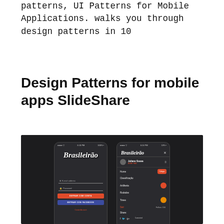patterns, UI Patterns for Mobile Applications. walks you through design patterns in 10
Design Patterns for mobile apps SlideShare
[Figure (screenshot): Two mobile app screenshots of 'Brasileirão' app on dark background. Left shows login screen with email/password fields and red/blue buttons. Right shows navigation drawer with user profile, menu items (Home, Classificação, Artilheria, Rodadas, Times, Sair, Share) and social icons.]